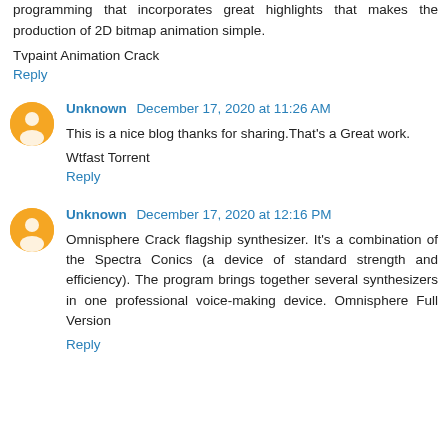programming that incorporates great highlights that makes the production of 2D bitmap animation simple.
Tvpaint Animation Crack
Reply
Unknown  December 17, 2020 at 11:26 AM
This is a nice blog thanks for sharing.That's a Great work.
Wtfast Torrent
Reply
Unknown  December 17, 2020 at 12:16 PM
Omnisphere Crack flagship synthesizer. It's a combination of the Spectra Conics (a device of standard strength and efficiency). The program brings together several synthesizers in one professional voice-making device. Omnisphere Full Version
Reply